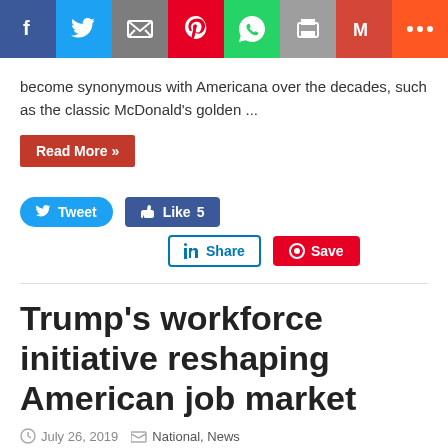[Figure (screenshot): Social media share bar with icons for Facebook, Twitter, Email, Pinterest, WhatsApp, Print, Gmail, and More]
become synonymous with Americana over the decades, such as the classic McDonald's golden ...
Read More »
[Figure (screenshot): Social sharing buttons: Tweet, Like 5, LinkedIn Share, Pinterest Save]
Trump's workforce initiative reshaping American job market
July 26, 2019   National, News